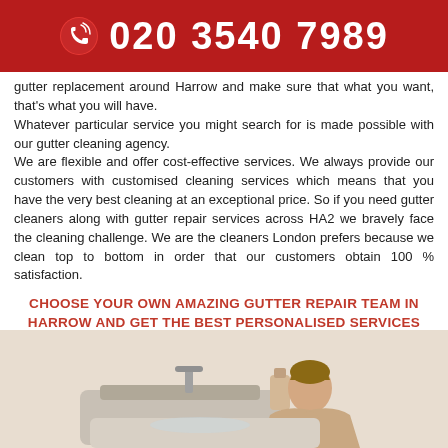020 3540 7989
gutter replacement around Harrow and make sure that what you want, that's what you will have.
Whatever particular service you might search for is made possible with our gutter cleaning agency.
We are flexible and offer cost-effective services. We always provide our customers with customised cleaning services which means that you have the very best cleaning at an exceptional price. So if you need gutter cleaners along with gutter repair services across HA2 we bravely face the cleaning challenge. We are the cleaners London prefers because we clean top to bottom in order that our customers obtain 100 % satisfaction.
CHOOSE YOUR OWN AMAZING GUTTER REPAIR TEAM IN HARROW AND GET THE BEST PERSONALISED SERVICES
[Figure (photo): Person in beige top cleaning a bathroom sink, wearing blue rubber gloves, leaning over the sink with cleaning supplies visible]